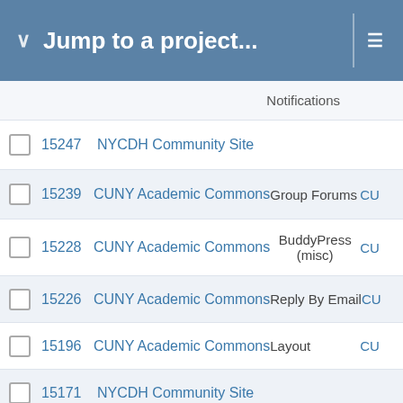Jump to a project...
Notifications
15247   NYCDH Community Site
15239   CUNY Academic Commons   Group Forums   CU
15228   CUNY Academic Commons   BuddyPress (misc)   CU
15226   CUNY Academic Commons   Reply By Email   CU
15196   CUNY Academic Commons   Layout   CU
15171   NYCDH Community Site
15137   CUNY Academic Commons   Search   CUN